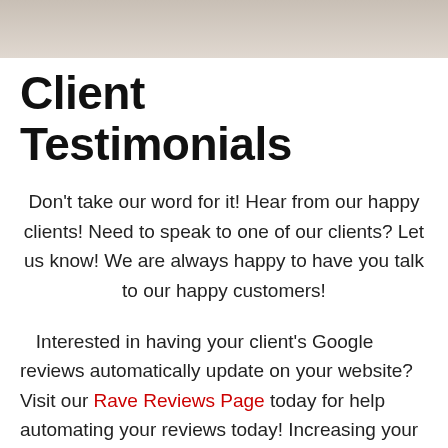[Figure (photo): Gray/beige textured surface or material, partial view at top of page]
Client Testimonials
Don't take our word for it! Hear from our happy clients! Need to speak to one of our clients? Let us know! We are always happy to have you talk to our happy customers!
Interested in having your client's Google reviews automatically update on your website? Visit our Rave Reviews Page today for help automating your reviews today! Increasing your reviews both on your site and on